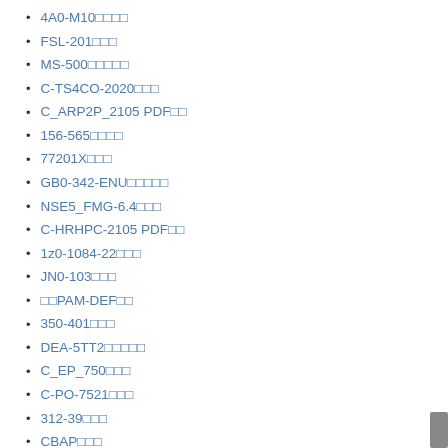4A0-M10题库下载
FSL-201题库
MS-500题库下载
C-TS4CO-2020题库
C_ARP2P_2105 PDF题库
156-565题库下载
77201X题库
GB0-342-ENU题库下载
NSE5_FMG-6.4题库
C-HRHPC-2105 PDF题库
1z0-1084-22题库
JN0-103题库
新PAM-DEF题库
350-401题库
DEA-5TT2题库下载
C_EP_750题库
C-PO-7521题库
312-39题库
CBAP题库
新C-S4EWM-2020题库
C_S4CPS_2108 PDF题库
1z0-997-22题库